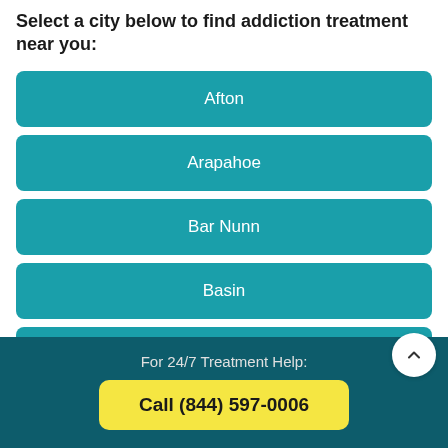Select a city below to find addiction treatment near you:
Afton
Arapahoe
Bar Nunn
Basin
Buffalo
For 24/7 Treatment Help:
Call (844) 597-0006